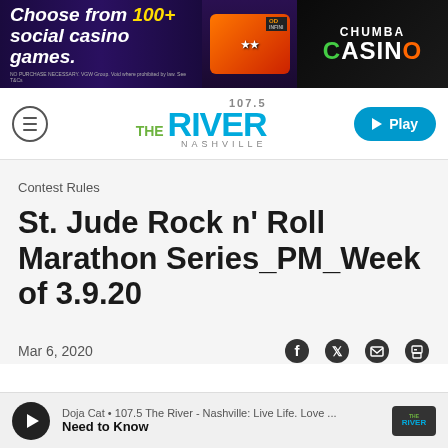[Figure (other): Chumba Casino advertisement banner: 'Choose from 100+ social casino games.' with colorful game imagery on left and Chumba Casino logo on right]
[Figure (logo): 107.5 The River Nashville radio station logo with navigation hamburger menu on left and Play button on right]
Contest Rules
St. Jude Rock n' Roll Marathon Series_PM_Week of 3.9.20
Mar 6, 2020
[Figure (other): Social sharing icons: Facebook, Twitter, Email, Print]
Doja Cat • 107.5 The River - Nashville: Live Life. Love ... Need to Know